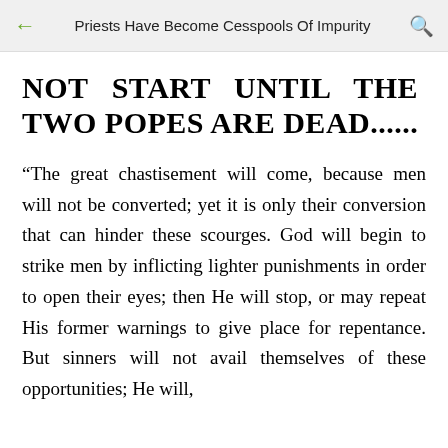Priests Have Become Cesspools Of Impurity
NOT START UNTIL THE TWO POPES ARE DEAD......
“The great chastisement will come, because men will not be converted; yet it is only their conversion that can hinder these scourges. God will begin to strike men by inflicting lighter punishments in order to open their eyes; then He will stop, or may repeat His former warnings to give place for repentance. But sinners will not avail themselves of these opportunities; He will,